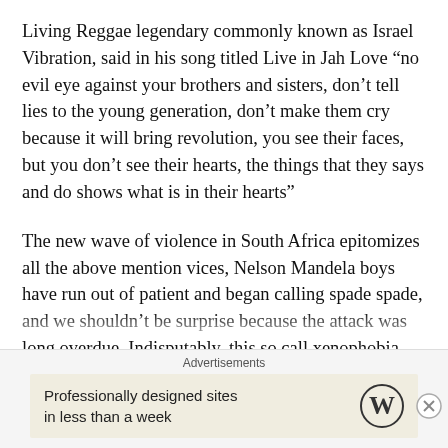Living Reggae legendary commonly known as Israel Vibration, said in his song titled Live in Jah Love “no evil eye against your brothers and sisters, don’t tell lies to the young generation, don’t make them cry because it will bring revolution, you see their faces, but you don’t see their hearts, the things that they says and do shows what is in their hearts”
The new wave of violence in South Africa epitomizes all the above mention vices, Nelson Mandela boys have run out of patient and began calling spade spade, and we shouldn’t be surprise because the attack was long overdue. Indisputably, this so call xenophobia was precipitated by ANC laxity and ignorance on the people. The South African government ha…
Advertisements
[Figure (other): WordPress advertisement banner: 'Professionally designed sites in less than a week' with WordPress logo]